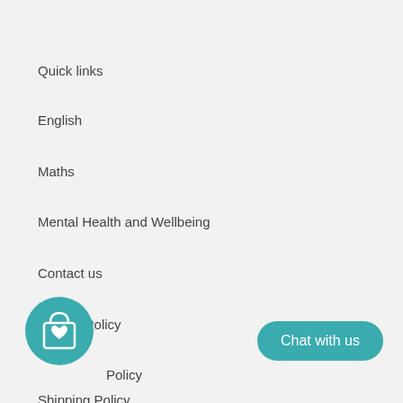Quick links
English
Maths
Mental Health and Wellbeing
Contact us
Refund Policy
Policy
Shipping Policy
[Figure (illustration): Teal circular shopping bag with heart icon]
Chat with us